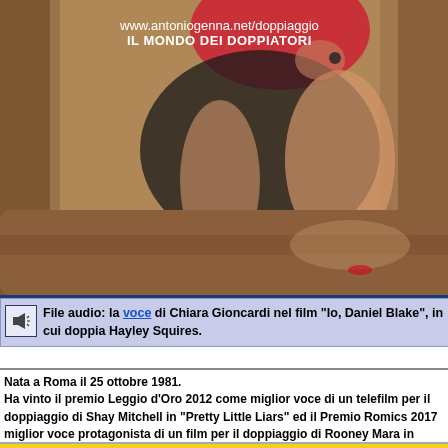[Figure (photo): Photo of a woman in a red top and black skirt sitting on a large tree root or log, barefoot with red toenails, against a background of tree trunks. Watermark text overlaid: 'www.antoniogenna.net/doppiaggio' and 'IL MONDO DEI DOPPIATORI']
File audio: la voce di Chiara Gioncardi nel film "Io, Daniel Blake", in cui doppia Hayley Squires.
Nata a Roma il 25 ottobre 1981.
Ha vinto il premio Leggio d'Oro 2012 come miglior voce di un telefilm per il doppiaggio di Shay Mitchell in "Pretty Little Liars" ed il Premio Romics 2017 miglior voce protagonista di un film per il doppiaggio di Rooney Mara in "Carol".